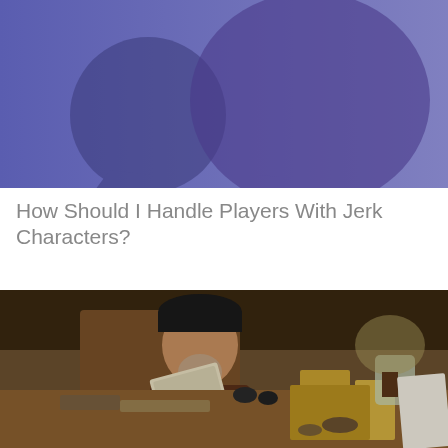[Figure (illustration): Blue/purple gradient background with two overlapping speech bubble silhouettes in darker purple/indigo tones]
How Should I Handle Players With Jerk Characters?
[Figure (photo): Classical oil painting depicting an elderly bearded scholar wearing a black hat, reading a large book at a desk cluttered with books, inkwells, and various objects including a globe and glass jar in the background]